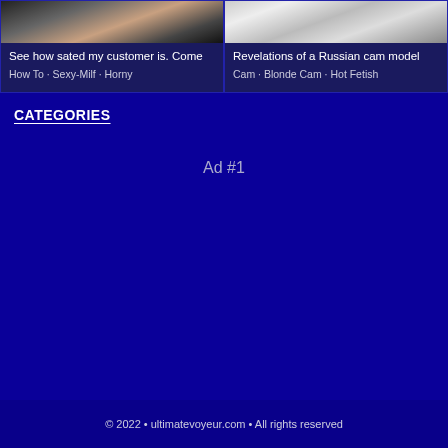[Figure (screenshot): Thumbnail image for video card 1 showing partial body/person]
See how sated my customer is. Come
How To · Sexy-Milf · Horny
[Figure (screenshot): Thumbnail image for video card 2 showing partial body/person]
Revelations of a Russian cam model
Cam · Blonde Cam · Hot Fetish
CATEGORIES
Ad #1
© 2022 • ultimatevoyeur.com • All rights reserved